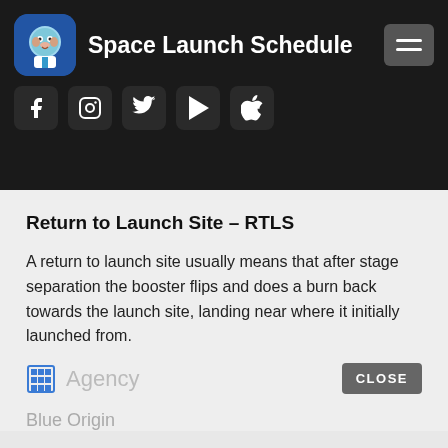Space Launch Schedule
Return to Launch Site – RTLS
A return to launch site usually means that after stage separation the booster flips and does a burn back towards the launch site, landing near where it initially launched from.
Agency
Blue Origin